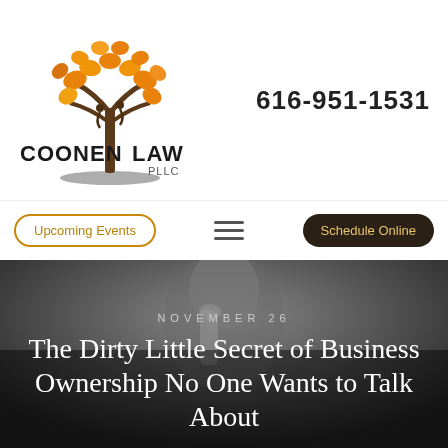[Figure (logo): Coonen Law PLLC logo with orange tree illustration and two figures, text reads COONEN LAW PLLC]
616-951-1531
Upcoming Events
Schedule Online
[Figure (photo): Black and white close-up photo of a person holding finger to lips in a 'shh' gesture]
NOVEMBER 26
The Dirty Little Secret of Business Ownership No One Wants to Talk About